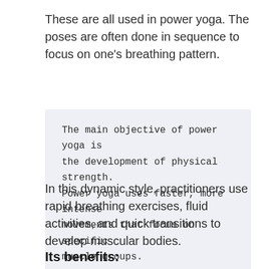These are all used in power yoga. The poses are often done in sequence to focus on one's breathing pattern.
The main objective of power yoga is the development of physical strength. Power yoga uses faster, more intense movements that focus on specific muscle groups.
In this dynamic style, practitioners use rapid breathing exercises, fluid activities, and quick transitions to develop muscular bodies.
Its benefits: